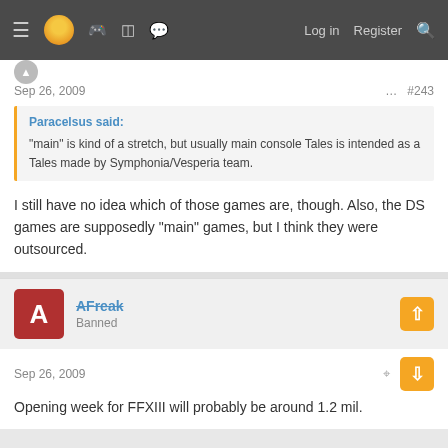≡ [logo] [gamepad icon] [grid icon] [chat icon]   Log in   Register   [search]
Sep 26, 2009   #243
Paracelsus said:
"main" is kind of a stretch, but usually main console Tales is intended as a Tales made by Symphonia/Vesperia team.
I still have no idea which of those games are, though. Also, the DS games are supposedly "main" games, but I think they were outsourced.
AFreak
Banned
Sep 26, 2009
Opening week for FFXIII will probably be around 1.2 mil.